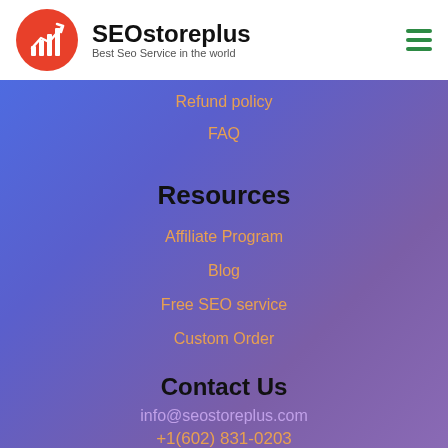SEOstoreplus — Best Seo Service in the world
Refund policy
FAQ
Resources
Affiliate Program
Blog
Free SEO service
Custom Order
Contact Us
info@seostoreplus.com
+1(602) 831-0203
(partially visible green phone/text line)